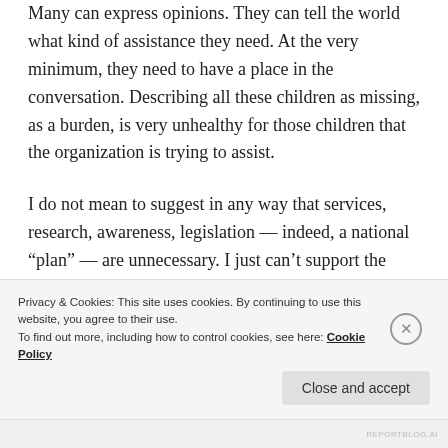Many can express opinions. They can tell the world what kind of assistance they need. At the very minimum, they need to have a place in the conversation. Describing all these children as missing, as a burden, is very unhealthy for those children that the organization is trying to assist.
I do not mean to suggest in any way that services, research, awareness, legislation — indeed, a national “plan” — are unnecessary. I just can’t support the means Autism Speaks
Privacy & Cookies: This site uses cookies. By continuing to use this website, you agree to their use.
To find out more, including how to control cookies, see here: Cookie Policy
Close and accept